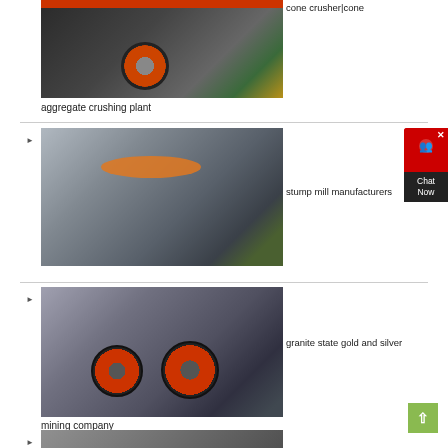[Figure (photo): Industrial cone crusher / aggregate crushing machine in a factory setting, red-topped machinery with orange wheel]
cone crusher|cone
aggregate crushing plant
[Figure (photo): Large industrial sand-making or VSI crusher machine in a factory, dark grey/black with orange ring]
stump mill manufacturers
[Figure (photo): Chat Now widget with red background and customer service icon]
[Figure (photo): Industrial jaw crusher machine in factory setting with large red/black flywheels]
granite state gold and silver
mining company
[Figure (photo): Partial view of another industrial crusher machine at bottom of page]